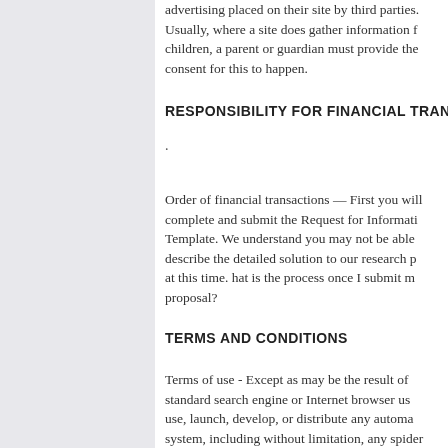advertising placed on their site by third parties. Usually, where a site does gather information f children, a parent or guardian must provide the consent for this to happen.
RESPONSIBILITY FOR FINANCIAL TRANSACT
.
Order of financial transactions — First you will complete and submit the Request for Informati Template. We understand you may not be able describe the detailed solution to our research p at this time. hat is the process once I submit m proposal?
TERMS AND CONDITIONS
Terms of use - Except as may be the result of standard search engine or Internet browser us use, launch, develop, or distribute any automa system, including without limitation, any spider cheat utility, scraper, or offline reader that acce